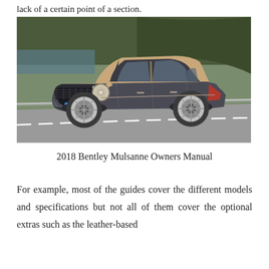lack of a certain point of a section.
[Figure (photo): A Bentley Mulsanne luxury sedan with two-tone dark grey and champagne/gold bodywork driving on a road with rocky cliffs and greenery in the background. License plate reads DG16 WMA.]
2018 Bentley Mulsanne Owners Manual
For example, most of the guides cover the different models and specifications but not all of them cover the optional extras such as the leather-based